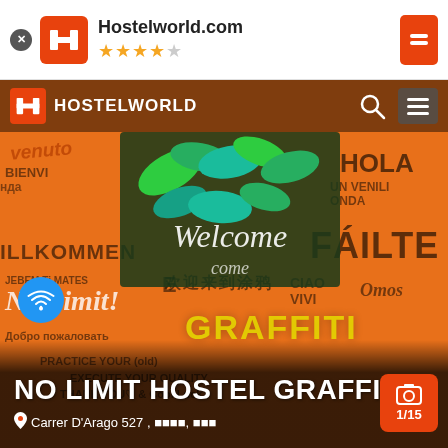[Figure (screenshot): Hostelworld.com browser header with orange H logo, 4 gold stars and 1 grey star rating, and red bookmark button on the right]
[Figure (photo): Interior photo of No Limit Hostel Graffiti showing an orange wall covered in multilingual graffiti text and a Welcome tropical art mural, with green cushioned sofa in foreground]
NO LIMIT HOSTEL GRAFFITI
Carrer D'Arago 527 , 🔲🔲🔲🔲, 🔲🔲🔲